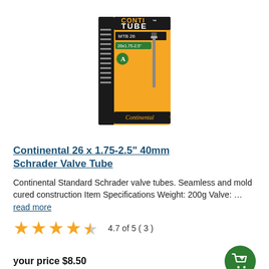[Figure (photo): Continental Conti Tube MTB 26 inner tube product box, orange and black packaging, showing a Schrader valve stem]
Continental 26 x 1.75-2.5" 40mm Schrader Valve Tube
Continental Standard Schrader valve tubes. Seamless and mold cured construction Item Specifications Weight: 200g Valve: … read more
4.7 of 5 ( 3 )
your price $8.50